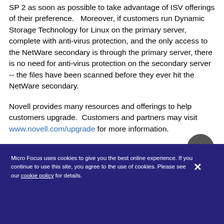SP 2 as soon as possible to take advantage of ISV offerings of their preference.   Moreover, if customers run Dynamic Storage Technology for Linux on the primary server, complete with anti-virus protection, and the only access to the NetWare secondary is through the primary server, there is no need for anti-virus protection on the secondary server -- the files have been scanned before they ever hit the NetWare secondary.
Novell provides many resources and offerings to help customers upgrade.  Customers and partners may visit www.novell.com/upgrade for more information.
Micro Focus uses cookies to give you the best online experience. If you continue to use this site, you agree to the use of cookies. Please see our cookie policy for details.